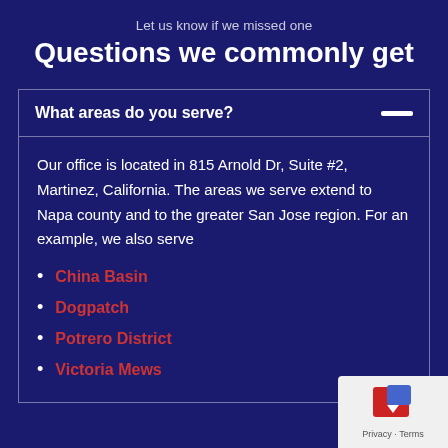Let us know if we missed one
Questions we commonly get
What areas do you serve?
Our office is located in 815 Arnold Dr, Suite #2, Martinez, California. The areas we serve extend to Napa county and to the greater San Jose region. For an example, we also serve
China Basin
Dogpatch
Potrero District
Victoria Mews